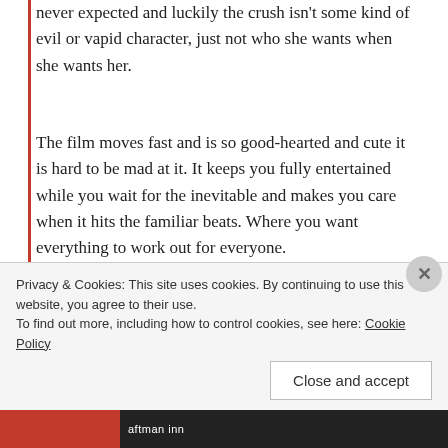never expected and luckily the crush isn't some kind of evil or vapid character, just not who she wants when she wants her.
The film moves fast and is so good-hearted and cute it is hard to be mad at it. It keeps you fully entertained while you wait for the inevitable and makes you care when it hits the familiar beats. Where you want everything to work out for everyone.
Even the characters who seem or come off as
Privacy & Cookies: This site uses cookies. By continuing to use this website, you agree to their use.
To find out more, including how to control cookies, see here: Cookie Policy
Close and accept